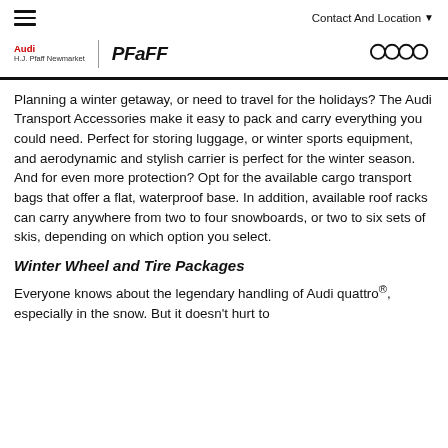☰   Contact And Location ▾
[Figure (logo): Audi H.J. Pfaff Newmarket logo with Pfaff wordmark and Audi four rings logo]
Planning a winter getaway, or need to travel for the holidays? The Audi Transport Accessories make it easy to pack and carry everything you could need. Perfect for storing luggage, or winter sports equipment, and aerodynamic and stylish carrier is perfect for the winter season. And for even more protection? Opt for the available cargo transport bags that offer a flat, waterproof base. In addition, available roof racks can carry anywhere from two to four snowboards, or two to six sets of skis, depending on which option you select.
Winter Wheel and Tire Packages
Everyone knows about the legendary handling of Audi quattro®, especially in the snow. But it doesn't hurt to